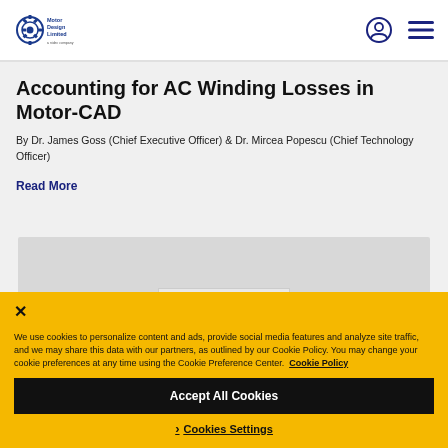Motor Design Limited
Accounting for AC Winding Losses in Motor-CAD
By Dr. James Goss (Chief Executive Officer) & Dr. Mircea Popescu (Chief Technology Officer)
Read More
We use cookies to personalize content and ads, provide social media features and analyze site traffic, and we may share this data with our partners, as outlined by our Cookie Policy. You may change your cookie preferences at any time using the Cookie Preference Center.  Cookie Policy
Accept All Cookies
Cookies Settings